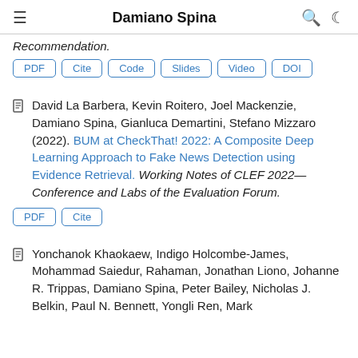Damiano Spina
Recommendation.
PDF | Cite | Code | Slides | Video | DOI
David La Barbera, Kevin Roitero, Joel Mackenzie, Damiano Spina, Gianluca Demartini, Stefano Mizzaro (2022). BUM at CheckThat! 2022: A Composite Deep Learning Approach to Fake News Detection using Evidence Retrieval. Working Notes of CLEF 2022—Conference and Labs of the Evaluation Forum.
PDF | Cite
Yonchanok Khaokaew, Indigo Holcombe-James, Mohammad Saiedur, Rahaman, Jonathan Liono, Johanne R. Trippas, Damiano Spina, Peter Bailey, Nicholas J. Belkin, Paul N. Bennett, Yongli Ren, Mark